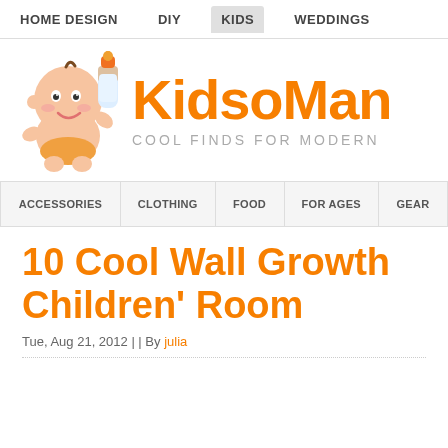HOME DESIGN   DIY   KIDS   WEDDINGS
[Figure (logo): KidsoMania logo with cartoon baby holding a milk bottle, orange text 'KidsoMania' and gray tagline 'Cool Finds for Modern']
ACCESSORIES   CLOTHING   FOOD   FOR AGES   GEAR
10 Cool Wall Growth Children' Room
Tue, Aug 21, 2012 | | By julia